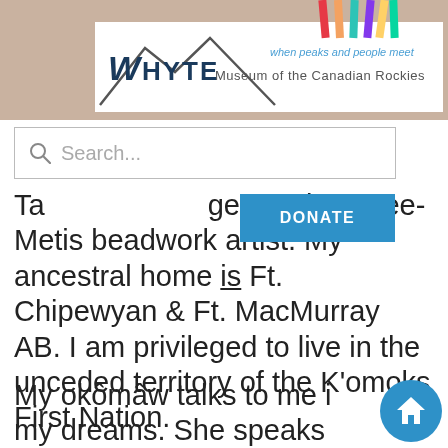[Figure (screenshot): Whyte Museum of the Canadian Rockies website screenshot showing logo, search bar, donate button, and text about a Cree-Metis beadwork artist]
Ta[ke] generation Cree-Metis beadwork artist. My ancestral home is Ft. Chipewyan & Ft. MacMurray AB. I am privileged to live in the unceded territory of the K'omoks First Nation.
My okômâw talks to me in my dreams. She speaks medicines, life lessons,